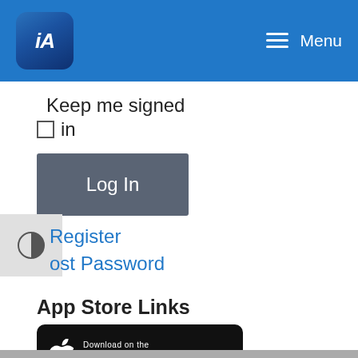iA Menu
Keep me signed in
Log In
Register
Lost Password
App Store Links
[Figure (logo): Download on the App Store badge - black rounded rectangle with Apple logo and text 'Download on the App Store']